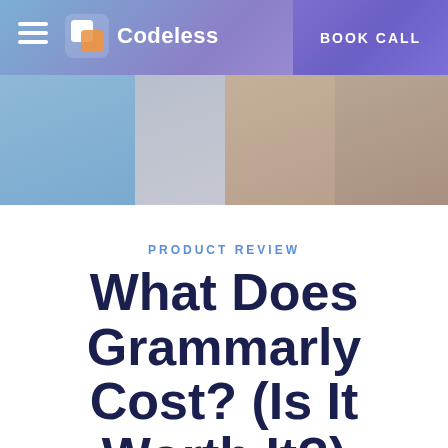[Figure (screenshot): Codeless website header with navigation bar containing hamburger menu, Codeless logo with icon, and BOOK CALL button. Below the nav is a hero image area with blurred gradient sections.]
PRODUCT REVIEW
What Does Grammarly Cost? (Is It Worth It?)